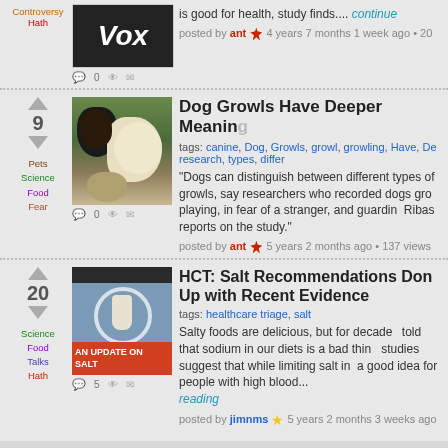[Figure (screenshot): Website listing of news/article items with thumbnails, vote counts, tags, and descriptions]
Dog Growls Have Deeper Meaning
tags: canine, Dog, Growls, growl, growling, Have, Deeper, research, types, differ
"Dogs can distinguish between different types of growls, say researchers who recorded dogs growling while playing, in fear of a stranger, and guarding food. Ribas reports on the study."
posted by ant 5 years 2 months ago • 137 views
HCT: Salt Recommendations Don't Keep Up with Recent Evidence
tags: healthcare triage, salt
Salty foods are delicious, but for decades we've been told that sodium in our diets is a bad thing. But new studies suggest that while limiting salt intake may be a good idea for people with high blood... continue reading
posted by jimnms 5 years 2 months 3 weeks ago